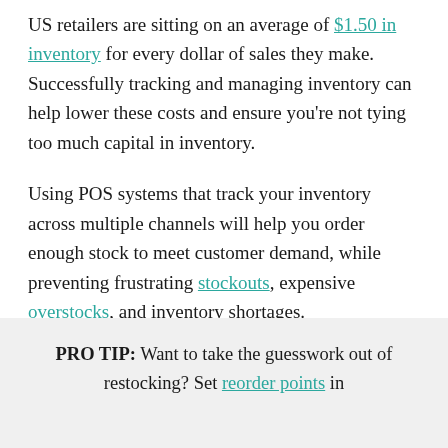US retailers are sitting on an average of $1.50 in inventory for every dollar of sales they make. Successfully tracking and managing inventory can help lower these costs and ensure you're not tying too much capital in inventory.
Using POS systems that track your inventory across multiple channels will help you order enough stock to meet customer demand, while preventing frustrating stockouts, expensive overstocks, and inventory shortages.
PRO TIP: Want to take the guesswork out of restocking? Set reorder points in